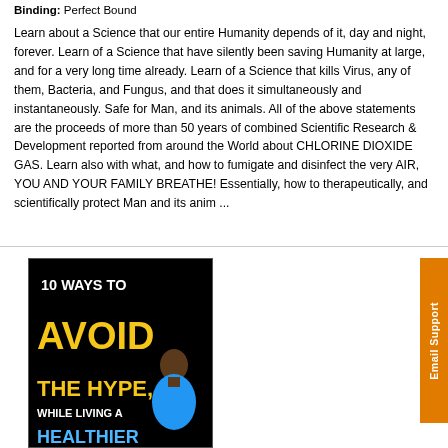Binding: Perfect Bound
Learn about a Science that our entire Humanity depends of it, day and night, forever. Learn of a Science that have silently been saving Humanity at large, and for a very long time already. Learn of a Science that kills Virus, any of them, Bacteria, and Fungus, and that does it simultaneously and instantaneously. Safe for Man, and its animals. All of the above statements are the proceeds of more than 50 years of combined Scientific Research & Development reported from around the World about CHLORINE DIOXIDE GAS. Learn also with what, and how to fumigate and disinfect the very AIR, YOU AND YOUR FAMILY BREATHE! Essentially, how to therapeutically, and scientifically protect Man and its anim ...
[Figure (photo): Book cover: '10 WAYS TO AVOID THE HYPE, WHILE LIVING A HEALTHIER...' with text in white and yellow on black background, with a person's face/upper body visible at bottom right.]